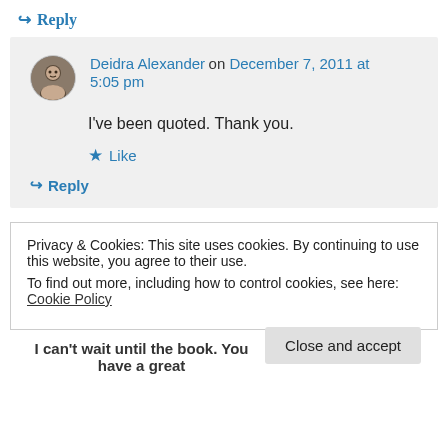↪ Reply
Deidra Alexander on December 7, 2011 at 5:05 pm
I've been quoted. Thank you.
★ Like
↪ Reply
Privacy & Cookies: This site uses cookies. By continuing to use this website, you agree to their use.
To find out more, including how to control cookies, see here: Cookie Policy
Close and accept
I can't wait until the book. You have a great